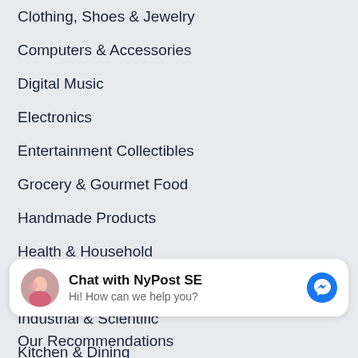Clothing, Shoes & Jewelry
Computers & Accessories
Digital Music
Electronics
Entertainment Collectibles
Grocery & Gourmet Food
Handmade Products
Health & Household
Home & Kitchen
Industrial & Scientific
Kitchen & Dining
Most Wished For
[Figure (screenshot): Facebook Messenger chat widget with avatar photo of a person, bold text 'Chat with NyPost SE', subtext 'Hi! How can we help you?' and blue Messenger icon on the right.]
Our Recommendations